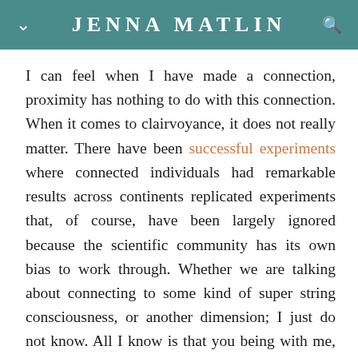JENNA MATLIN
I can feel when I have made a connection, proximity has nothing to do with this connection. When it comes to clairvoyance, it does not really matter. There have been successful experiments where connected individuals had remarkable results across continents replicated experiments that, of course, have been largely ignored because the scientific community has its own bias to work through. Whether we are talking about connecting to some kind of super string consciousness, or another dimension; I just do not know. All I know is that you being with me, sipping tea, while I love